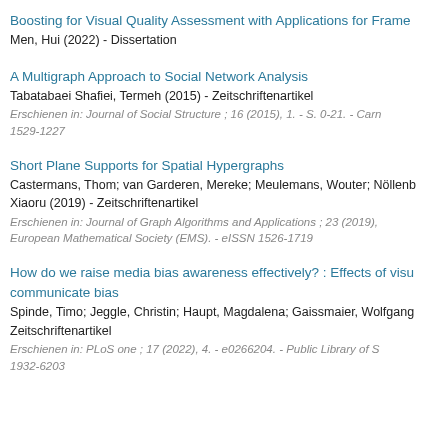Boosting for Visual Quality Assessment with Applications for Frame
Men, Hui (2022) - Dissertation
A Multigraph Approach to Social Network Analysis
Tabatabaei Shafiei, Termeh (2015) - Zeitschriftenartikel
Erschienen in: Journal of Social Structure ; 16 (2015), 1. - S. 0-21. - Carn 1529-1227
Short Plane Supports for Spatial Hypergraphs
Castermans, Thom; van Garderen, Mereke; Meulemans, Wouter; Nöllenb Xiaoru (2019) - Zeitschriftenartikel
Erschienen in: Journal of Graph Algorithms and Applications ; 23 (2019), European Mathematical Society (EMS). - eISSN 1526-1719
How do we raise media bias awareness effectively? : Effects of visu communicate bias
Spinde, Timo; Jeggle, Christin; Haupt, Magdalena; Gaissmaier, Wolfgang Zeitschriftenartikel
Erschienen in: PLoS one ; 17 (2022), 4. - e0266204. - Public Library of S 1932-6203